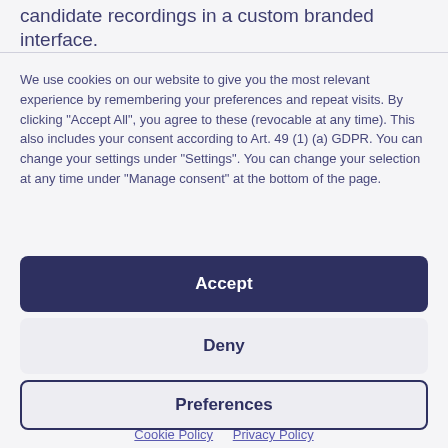candidate recordings in a custom branded interface.
We use cookies on our website to give you the most relevant experience by remembering your preferences and repeat visits. By clicking "Accept All", you agree to these (revocable at any time). This also includes your consent according to Art. 49 (1) (a) GDPR. You can change your settings under "Settings". You can change your selection at any time under "Manage consent" at the bottom of the page.
Accept
Deny
Preferences
Cookie Policy   Privacy Policy